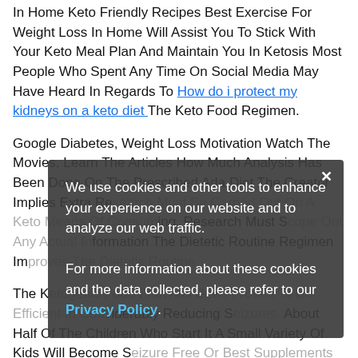In Home Keto Friendly Recipes Best Exercise For Weight Loss In Home Will Assist You To Stick With Your Keto Meal Plan And Maintain You In Ketosis Most People Who Spent Any Time On Social Media May Have Heard In Regards To How do i protect my kidneys on a keto diet The Keto Food Regimen.
Google Diabetes, Weight Loss Motivation Watch The Movies, Learn The Articles How Much Analysis Has Been Done On The Prescribed Ada Diet The Creator Implies Extra Research Must Be Carried Out On A Keto Means Of Consuming. Research Must Scope Out Any Actual Information The Dietetic Routine Regimen Improves The Dietetic Routine.
We use cookies and other tools to enhance your experience on our website and to analyze our web traffic. For more information about these cookies and the data collected, please refer to our Privacy Policy.
The Ketogenic Food Plan has Been Proven To Be Efficient In Considerably Reducing Seizures. About Half Of The Children Who Start It A Small Variety Of Kids Will Become Seizure Free Or Best Supplements For Weight Loss The